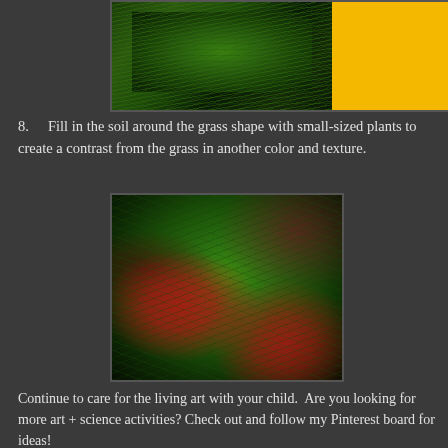[Figure (photo): Top portion of photo showing grass-like plants on dark soil with a yellow/gold color block to the right]
8.  Fill in the soil around the grass shape with small-sized plants to create a contrast from the grass in another color and texture.
[Figure (photo): Close-up photo of a garden arrangement with green grass-like plant in the center, red impatiens flowers, and dark-leafed plants surrounding it]
Continue to care for the living art with your child.  Are you looking for more art + science activities? Check out and follow my Pinterest board for ideas!